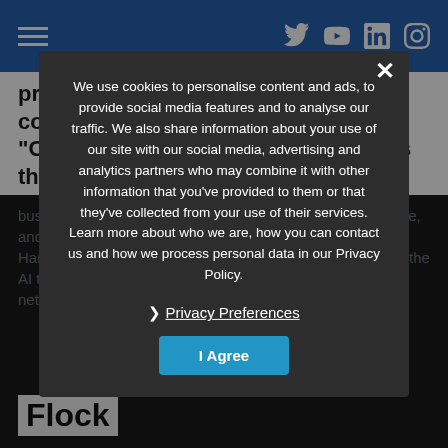Navigation header with hamburger menu and social icons (Twitter, YouTube, LinkedIn, Instagram)
process of underwriting for commercial insurance. "Cytora digitises every risk that flows through your
business, evaluates them against your underwriting appetite, and routes to the right place. As Cytora's CEO Richard Hartley put it. As he explained in a blog on engineering the AI that makes commercial savvy the businesses that it networks behind them by reading through their blog.
We use cookies to personalise content and ads, to provide social media features and to analyse our traffic. We also share information about your use of our site with our social media, advertising and analytics partners who may combine it with other information that you've provided to them or that they've collected from your use of their services. Learn more about who we are, how you can contact us and how we process personal data in our Privacy Policy.
❯ Privacy Preferences
I Agree
Flock